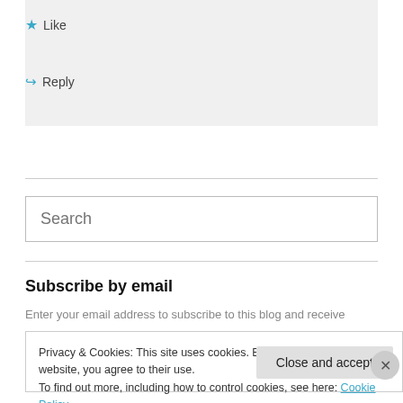★ Like
↳ Reply
[Figure (screenshot): Search input field with placeholder text 'Search']
Subscribe by email
Enter your email address to subscribe to this blog and receive
Privacy & Cookies: This site uses cookies. By continuing to use this website, you agree to their use. To find out more, including how to control cookies, see here: Cookie Policy
Close and accept